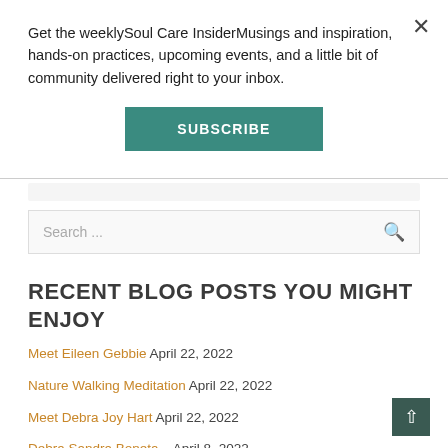Get the weeklySoul Care InsiderMusings and inspiration, hands-on practices, upcoming events, and a little bit of community delivered right to your inbox.
SUBSCRIBE
Search ...
RECENT BLOG POSTS YOU MIGHT ENJOY
Meet Eileen Gebbie April 22, 2022
Nature Walking Meditation April 22, 2022
Meet Debra Joy Hart April 22, 2022
Debra Sandra Boneta...  April 8, 2022